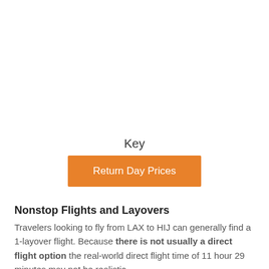Key
[Figure (other): Orange button labeled 'Return Day Prices']
Nonstop Flights and Layovers
Travelers looking to fly from LAX to HIJ can generally find a 1-layover flight. Because there is not usually a direct flight option the real-world direct flight time of 11 hour 29 minutes may not be realistic.